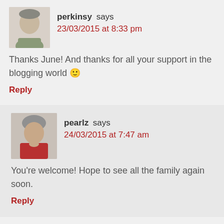perkinsy says 23/03/2015 at 8:33 pm
Thanks June! And thanks for all your support in the blogging world 🙂
Reply
pearlz says 24/03/2015 at 7:47 am
You're welcome! Hope to see all the family again soon.
Reply